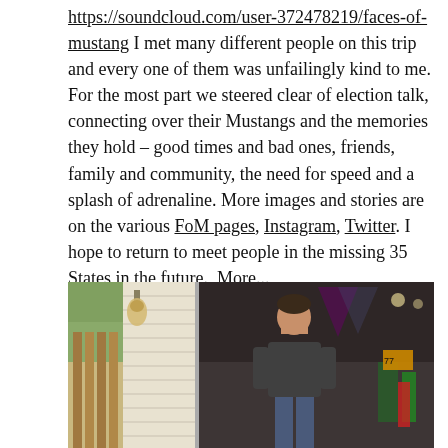https://soundcloud.com/user-372478219/faces-of-mustang I met many different people on this trip and every one of them was unfailingly kind to me. For the most part we steered clear of election talk, connecting over their Mustangs and the memories they hold – good times and bad ones, friends, family and community, the need for speed and a splash of adrenaline. More images and stories are on the various FoM pages, Instagram, Twitter. I hope to return to meet people in the missing 35 States in the future.  More...
[Figure (photo): Two-panel photo: left panel shows a house exterior with wooden fence slats, siding, and a decorative lamp; right panel shows a man in a dark t-shirt and jeans standing in a garage with equipment visible behind him.]